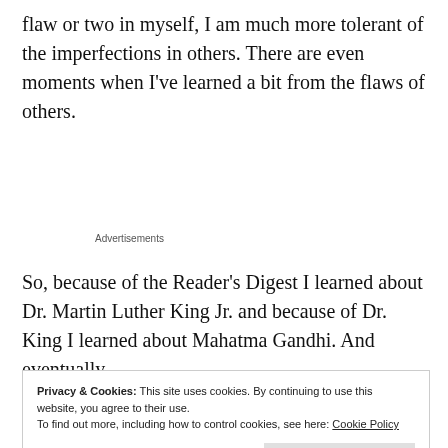flaw or two in myself, I am much more tolerant of the imperfections in others. There are even moments when I've learned a bit from the flaws of others.
Advertisements
So, because of the Reader's Digest I learned about Dr. Martin Luther King Jr. and because of Dr. King I learned about Mahatma Gandhi. And eventually
Privacy & Cookies: This site uses cookies. By continuing to use this website, you agree to their use.
To find out more, including how to control cookies, see here: Cookie Policy
Close and accept